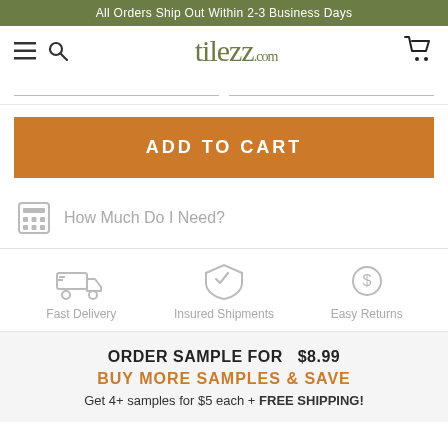All Orders Ship Out Within 2-3 Business Days
[Figure (logo): Tilezz.com website header with hamburger menu, search icon, tilezz.com logo and cart icon]
ADD TO CART
How Much Do I Need?
[Figure (infographic): Three icons: Fast Delivery (truck), Insured Shipments (box), Easy Returns (dollar in circle)]
ORDER SAMPLE FOR  $8.99
BUY MORE SAMPLES & SAVE
Get 4+ samples for $5 each + FREE SHIPPING!